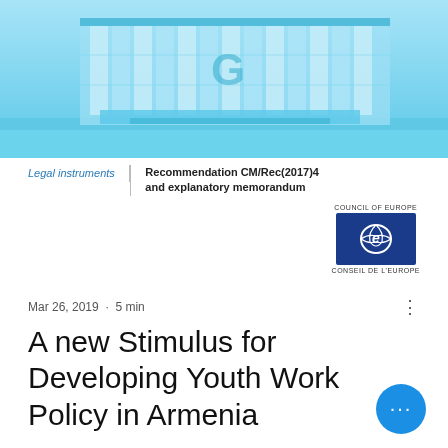[Figure (photo): Blue-tinted photograph of a modern government building (Council of Europe), with glass facade and architectural details.]
Legal instruments | Recommendation CM/Rec(2017)4 and explanatory memorandum
[Figure (logo): Council of Europe logo: blue rectangle with the 'e' symbol in white, with text 'COUNCIL OF EUROPE' above and 'CONSEIL DE L'EUROPE' below.]
Mar 26, 2019  ·  5 min
A new Stimulus for Developing Youth Work Policy in Armenia
On March 11-15 2019, the European Youth